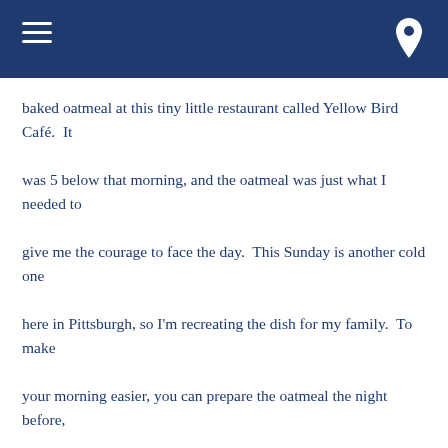baked oatmeal at this tiny little restaurant called Yellow Bird Café.  It was 5 below that morning, and the oatmeal was just what I needed to give me the courage to face the day.  This Sunday is another cold one here in Pittsburgh, so I'm recreating the dish for my family.  To make your morning easier, you can prepare the oatmeal the night before, prepare the casserole dish, cover with plastic wrap and put into the fridge until the following morning.  Then you can simply bake and will have a hearty breakfast to serve with almost no prep time.